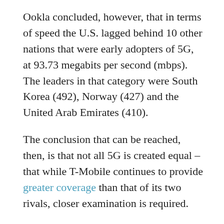Ookla concluded, however, that in terms of speed the U.S. lagged behind 10 other nations that were early adopters of 5G, at 93.73 megabits per second (mbps). The leaders in that category were South Korea (492), Norway (427) and the United Arab Emirates (410).
The conclusion that can be reached, then, is that not all 5G is created equal – that while T-Mobile continues to provide greater coverage than that of its two rivals, closer examination is required.
As noted on the website CNet.com, there are different versions of 5G – millimeter-wave (mmWave), which offers greater speed but less